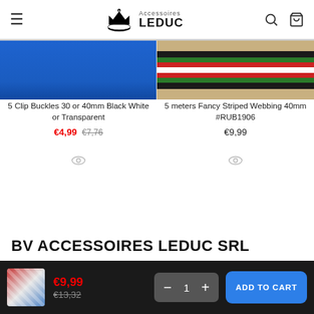Accessoires LEDUC
[Figure (photo): Product image showing blue clip buckles]
5 Clip Buckles 30 or 40mm Black White or Transparent
€4,99  €7,76
[Figure (photo): Product image showing fancy striped webbing 40mm]
5 meters Fancy Striped Webbing 40mm #RUB1906
€9,99
BV ACCESSOIRES LEDUC SRL
€9,99  €13,32  1  ADD TO CART